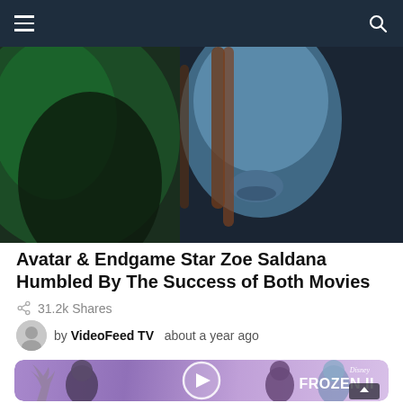Navigation bar with hamburger menu and search icon
[Figure (screenshot): Hero image showing Avatar movie scene with blue Na'vi character close-up face and another character in green light]
Avatar & Endgame Star Zoe Saldana Humbled By The Success of Both Movies
31.2k Shares
by VideoFeed TV  about a year ago
[Figure (screenshot): Frozen II Disney movie thumbnail with characters Kristoff, Anna, Elsa and Sven the reindeer on purple background with play button overlay and Disney Frozen II logo]